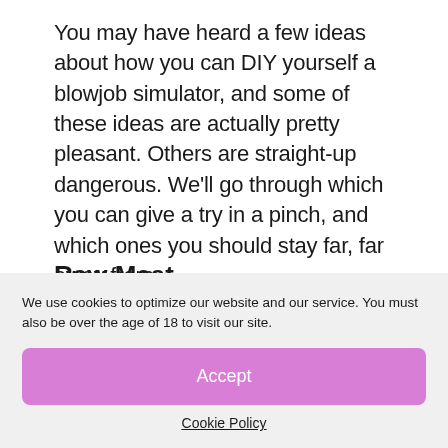You may have heard a few ideas about how you can DIY yourself a blowjob simulator, and some of these ideas are actually pretty pleasant. Others are straight-up dangerous. We'll go through which you can give a try in a pinch, and which ones you should stay far, far away from.
Raw Meat
We use cookies to optimize our website and our service. You must also be over the age of 18 to visit our site.
Accept
Cookie Policy